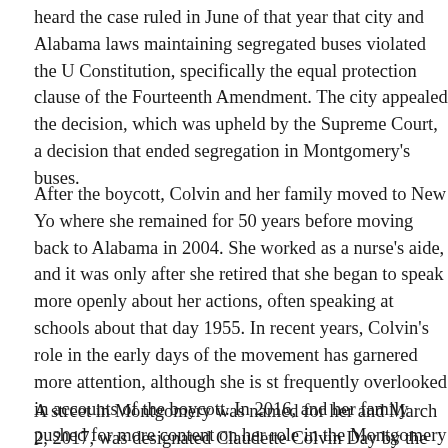heard the case ruled in June of that year that city and Alabama laws maintaining segregated buses violated the U.S. Constitution, specifically the equal protection clause of the Fourteenth Amendment. The city appealed the decision, which was upheld by the Supreme Court, a decision that ended segregation in Montgomery's buses.
After the boycott, Colvin and her family moved to New York, where she remained for 50 years before moving back to Alabama in 2004. She worked as a nurse's aide, and it was only after she retired that she began to speak more openly about her actions, often speaking at schools about that day in 1955. In recent years, Colvin's role in the early days of the movement has garnered more attention, although she is still frequently overlooked in accounts of the boycott. In 2016, and her family pushed for more content on her role in the Montgomery Bus Boycott at the National Museum of African American History and Culture in Washington, D.C.
A street in Montgomery was named for her and March 2, 2017, was designated Claudette Colvin Day by the city. In 2018, Congressman Joe Crowley of New York issued a